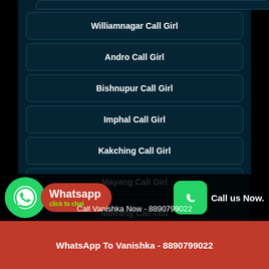Williamnagar Call Girl
Andro Call Girl
Bishnupur Call Girl
Imphal Call Girl
Kakching Call Girl
Mayang Call Girl
Moirang Call Girl
Call Vanishka Now - 8890799022
WhatsApp To Vanishka - 8890799022